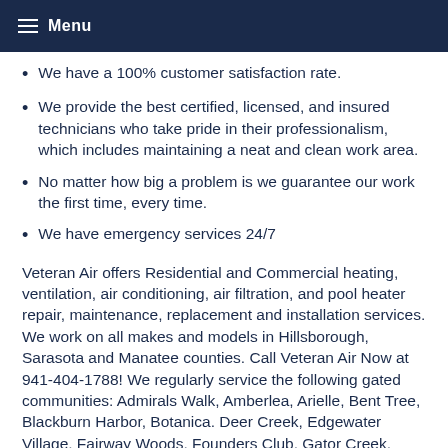Menu
We have a 100% customer satisfaction rate.
We provide the best certified, licensed, and insured technicians who take pride in their professionalism, which includes maintaining a neat and clean work area.
No matter how big a problem is we guarantee our work the first time, every time.
We have emergency services 24/7
Veteran Air offers Residential and Commercial heating, ventilation, air conditioning, air filtration, and pool heater repair, maintenance, replacement and installation services. We work on all makes and models in Hillsborough, Sarasota and Manatee counties. Call Veteran Air Now at 941-404-1788! We regularly service the following gated communities: Admirals Walk, Amberlea, Arielle, Bent Tree, Blackburn Harbor, Botanica. Deer Creek, Edgewater Village, Fairway Woods, Founders Club, Gator Creek, Heritage Oaks, Huntington Pointe. Lakewood Ranch CC, Laurel Oak, Marbella, Mira Lago, Misty Creek, Palisades, Pelican Cove, Phillippi